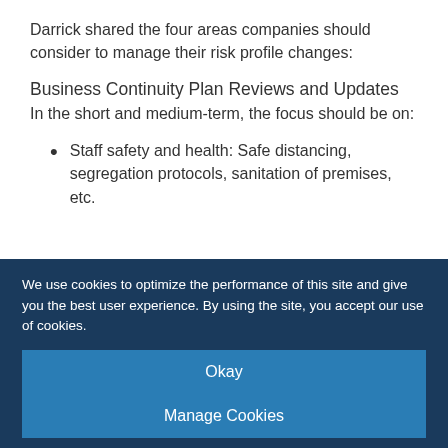Darrick shared the four areas companies should consider to manage their risk profile changes:
Business Continuity Plan Reviews and Updates
In the short and medium-term, the focus should be on:
Staff safety and health: Safe distancing, segregation protocols, sanitation of premises, etc.
We use cookies to optimize the performance of this site and give you the best user experience. By using the site, you accept our use of cookies.
Okay
Manage Cookies